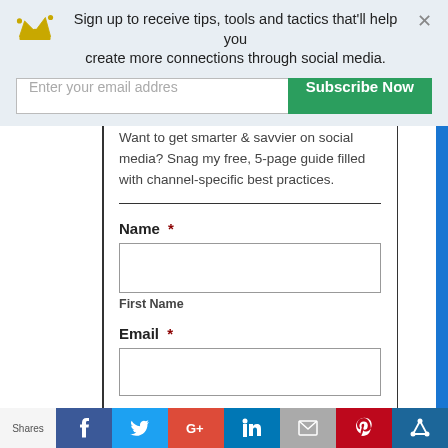Sign up to receive tips, tools and tactics that'll help you create more connections through social media.
[Figure (screenshot): Email subscription form banner with crown logo, close button, email input field and Subscribe Now button]
Want to get smarter & savvier on social media? Snag my free, 5-page guide filled with channel-specific best practices.
Name *
First Name
Email *
Shares